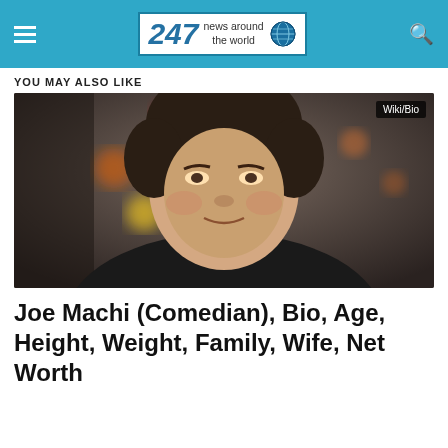247 news around the world
YOU MAY ALSO LIKE
[Figure (photo): Headshot photo of Joe Machi, a comedian, wearing a black shirt, smiling slightly, with colorful bokeh lights in the background. A 'Wiki/Bio' badge appears in the top right corner of the image.]
Joe Machi (Comedian), Bio, Age, Height, Weight, Family, Wife, Net Worth